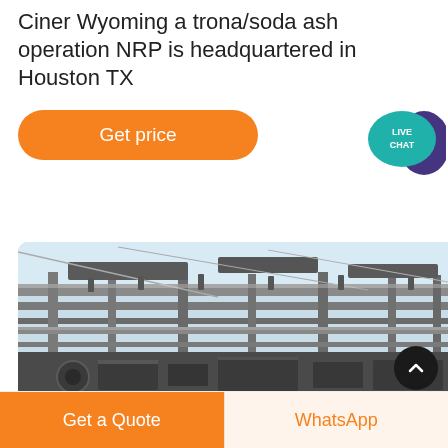Ciner Wyoming a trona/soda ash operation NRP is headquartered in Houston TX
Get price
[Figure (other): Live Chat bubble icon — teal speech bubble with 'LIVE CHAT' text and dark purple decorative bubble]
[Figure (photo): Industrial mining/processing facility showing heavy metal structural framework, conveyors, and machinery dusted with white mineral (likely soda ash/trona), photographed from ground level against a pale sky]
Get a Quote
WhatsApp